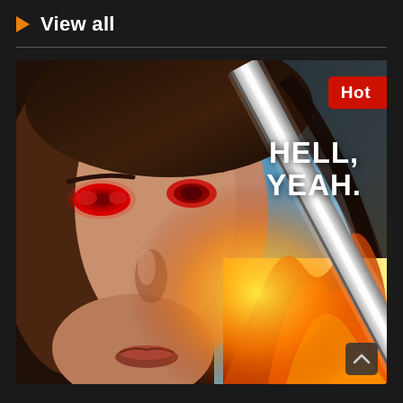View all
[Figure (photo): Movie or TV show promotional poster featuring a young woman with glowing red eyes in close-up on the left side, dark hair blowing, with flames and a glowing sword blade on the right side. Text reads 'HELL, YEAH.' in large white bold letters. A red 'Hot' badge is in the upper right corner. Background shows a blue sky with fire and light effects.]
Hot